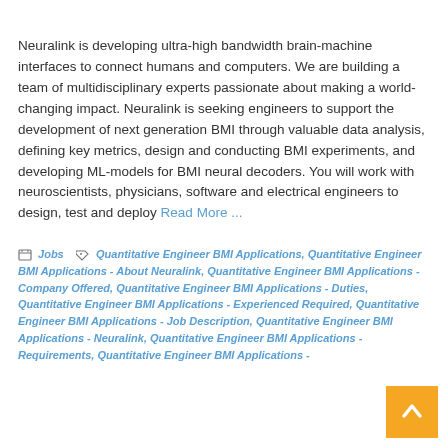Neuralink is developing ultra-high bandwidth brain-machine interfaces to connect humans and computers. We are building a team of multidisciplinary experts passionate about making a world-changing impact. Neuralink is seeking engineers to support the development of next generation BMI through valuable data analysis, defining key metrics, design and conducting BMI experiments, and developing ML-models for BMI neural decoders. You will work with neuroscientists, physicians, software and electrical engineers to design, test and deploy Read More ...
Jobs | Quantitative Engineer BMI Applications, Quantitative Engineer BMI Applications - About Neuralink, Quantitative Engineer BMI Applications - Company Offered, Quantitative Engineer BMI Applications - Duties, Quantitative Engineer BMI Applications - Experienced Required, Quantitative Engineer BMI Applications - Job Description, Quantitative Engineer BMI Applications - Neuralink, Quantitative Engineer BMI Applications - Requirements, Quantitative Engineer BMI Applications -